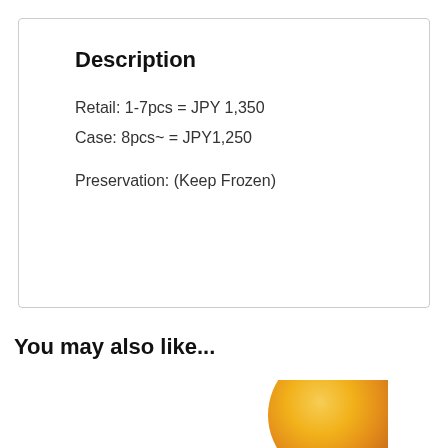Description
Retail: 1-7pcs = JPY 1,350
Case: 8pcs~ = JPY1,250

Preservation: (Keep Frozen)
You may also like...
[Figure (photo): Partial view of a food product (appears to be a round dish or pastry with golden-orange coloring) visible at the bottom right of the page]